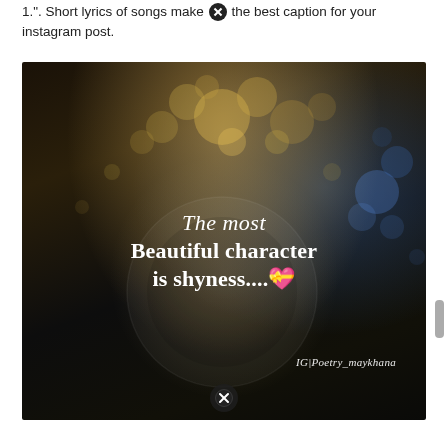1.". Short lyrics of songs make up the best caption for your instagram post.
[Figure (photo): Dark atmospheric photo of a bokeh background with golden and blue light orbs, showing a perspective down a road with a crystal ball effect in the center. Overlaid with white serif text reading: 'The most Beautiful character is shyness....💝' and 'IG|Poetry_maykhana' credit at the bottom right.]